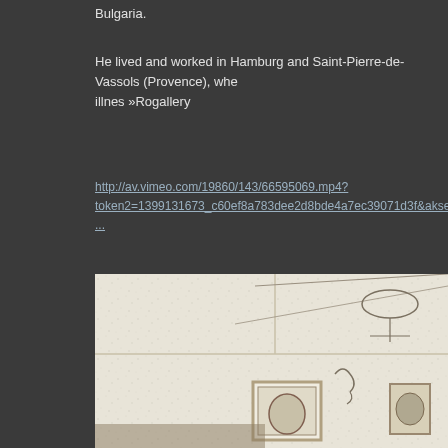Bulgaria.
He lived and worked in Hamburg and Saint-Pierre-de-Vassols (Provence), whe illnes »Rogallery
http://av.vimeo.com/19860/143/66595069.mp4?token2=1399131673_c60ef8a783dee2d8bde4a7ec39071d3f&aksessionid=37e22...
[Figure (photo): A vintage or artistic black and white illustration showing an interior scene with surreal elements — framed pictures, hanging objects, and a draped or decorated wall.]